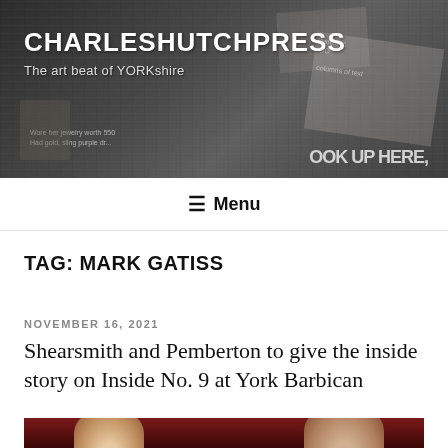[Figure (photo): Website header banner with collage of newspaper clippings and magazine covers as background, dark overlay]
CHARLESHUTCHPRESS
The art beat of YORKshire
≡ Menu
TAG: MARK GATISS
NOVEMBER 16, 2021
Shearsmith and Pemberton to give the inside story on Inside No. 9 at York Barbican
[Figure (photo): Two figures photographed against a dark red/maroon background, partially visible at bottom of page]